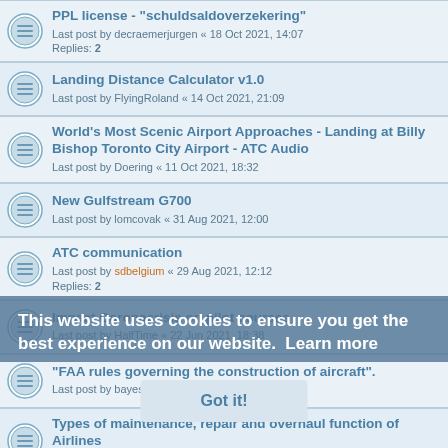PPL license - "schuldsaldoverzekering"
Last post by decraemerjurgen « 18 Oct 2021, 14:07
Replies: 2
Landing Distance Calculator v1.0
Last post by FlyingRoland « 14 Oct 2021, 21:09
World's Most Scenic Airport Approaches - Landing at Billy Bishop Toronto City Airport - ATC Audio
Last post by Doering « 11 Oct 2021, 18:32
New Gulfstream G700
Last post by lomcovak « 31 Aug 2021, 12:00
ATC communication
Last post by sdbelgium « 29 Aug 2021, 12:12
Replies: 2
Impact Coronacrisis on pilot courses
Last post by HalfTime « 22 Jun 2021, 18:38
"FAA rules governing the construction of aircraft".
Last post by bayespiloot « 22 Jun 2021, 9:51
Types of maintenance, repair and overhaul function of Airlines
Last post by ayllyali « 17 Jun 2021, 11:58
Pilot survey
Last post by setligth « 24 May 2021, 11:51
Replies: 2
This website uses cookies to ensure you get the best experience on our website. Learn more
Got it!